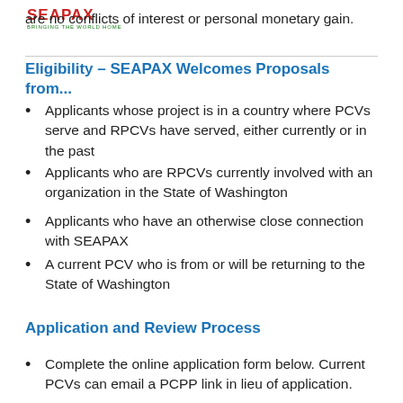[Figure (logo): SEAPAX logo with tagline 'BRINGING THE WORLD HOME']
are no conflicts of interest or personal monetary gain.
Eligibility – SEAPAX Welcomes Proposals from...
Applicants whose project is in a country where PCVs serve and RPCVs have served, either currently or in the past
Applicants who are RPCVs currently involved with an organization in the State of Washington
Applicants who have an otherwise close connection with SEAPAX
A current PCV who is from or will be returning to the State of Washington
Application and Review Process
Complete the online application form below. Current PCVs can email a PCPP link in lieu of application.